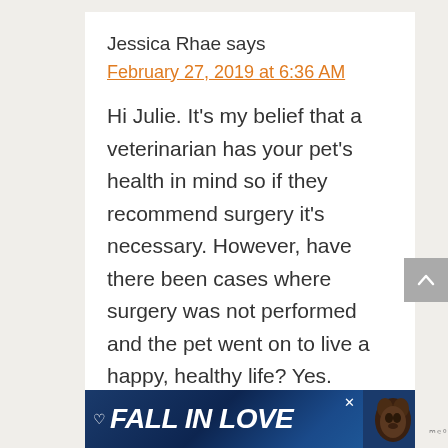Jessica Rhae says
February 27, 2019 at 6:36 AM
Hi Julie. It’s my belief that a veterinarian has your pet’s health in mind so if they recommend surgery it’s necessary. However, have there been cases where surgery was not performed and the pet went on to live a happy, healthy life? Yes.
[Figure (other): Advertisement banner reading FALL IN LOVE with a dog image on dark blue background]